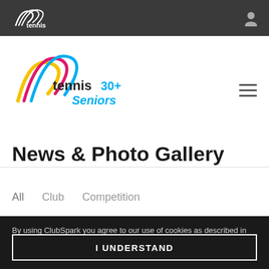[Figure (logo): Tennis Australia white logo with stylized arc and 'tennis' text in white, shown in dark header bar]
[Figure (logo): Tennis 30+ Seniors coloured logo with stylized arcs in yellow, pink, blue and 'tennis 30+ Seniors' text]
News & Photo Gallery
All   Club   Competition
By using ClubSpark you agree to our use of cookies as described in our cookie policy. cookie policy.
I UNDERSTAND